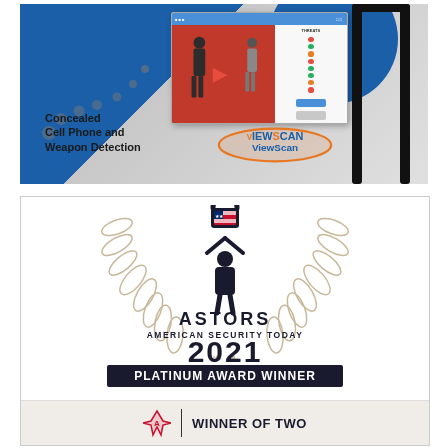[Figure (illustration): ViewScan product advertisement showing a walk-through security scanner with a software UI mockup, person silhouettes, and text 'Concealed Cell Phone and Weapon Detection' with the ViewScan logo in orange and blue.]
[Figure (logo): ASTORS American Security Today 2021 Platinum Award Winner - Homeland Security Awards badge. Features a human figure holding a shield-padlock with laurel wreath decoration, large '2021' text, 'PLATINUM AWARD WINNER' on a dark banner, and 'HOMELAND SECURITY AWARDS' below. Bottom section shows 'WINNER OF TWO' with a red logo mark.]